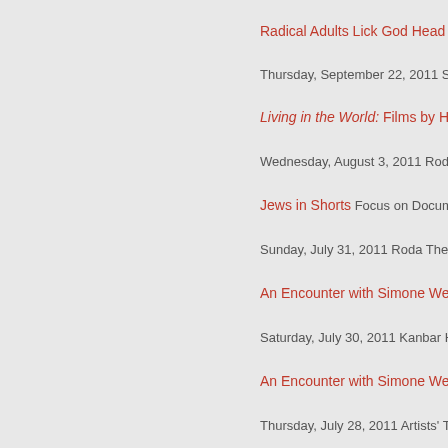Radical Adults Lick God Head Style N...
Thursday, September 22, 2011 San...
Living in the World: Films by Helga...
Wednesday, August 3, 2011 Roda Th...
Jews in Shorts Focus on Documenta...
Sunday, July 31, 2011 Roda Theatre...
An Encounter with Simone Weil
Saturday, July 30, 2011 Kanbar Hall...
An Encounter with Simone Weil
Thursday, July 28, 2011 Artists' Tele...
Rick Bahto/Robbie Land: Poetry of P...
Tuesday, July 26, 2011 Castro Theat...
Jews in Shorts Focus on Documenta...